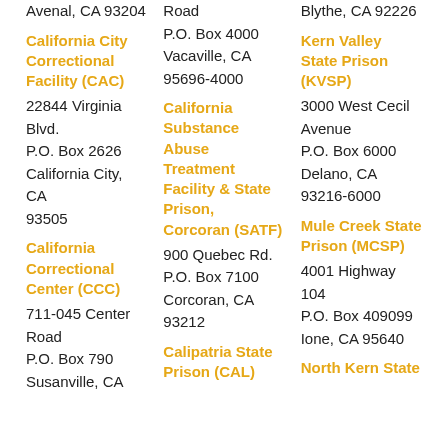Avenal, CA 93204
Road
P.O. Box 4000
Vacaville, CA
95696-4000
Blythe, CA 92226
California City Correctional Facility (CAC)
22844 Virginia Blvd.
P.O. Box 2626
California City, CA
93505
California Substance Abuse Treatment Facility & State Prison, Corcoran (SATF)
Kern Valley State Prison (KVSP)
3000 West Cecil Avenue
P.O. Box 6000
Delano, CA 93216-6000
California Correctional Center (CCC)
711-045 Center Road
P.O. Box 790
Susanville, CA
900 Quebec Rd.
P.O. Box 7100
Corcoran, CA
93212
Calipatria State Prison (CAL)
Mule Creek State Prison (MCSP)
4001 Highway 104
P.O. Box 409099
Ione, CA 95640
North Kern State